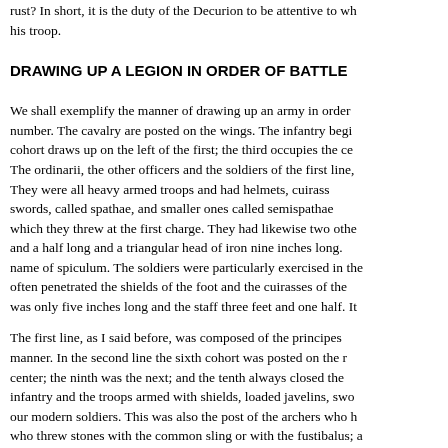cuirasses, lances and helmets always bright and in good order. terror into an enemy. Can that man be reckoned a good soldier w rust? In short, it is the duty of the Decurion to be attentive to wh his troop.
DRAWING UP A LEGION IN ORDER OF BATTLE
We shall exemplify the manner of drawing up an army in order number. The cavalry are posted on the wings. The infantry begi cohort draws up on the left of the first; the third occupies the ce The ordinarii, the other officers and the soldiers of the first line, They were all heavy armed troops and had helmets, cuirass swords, called spathae, and smaller ones called semispathae which they threw at the first charge. They had likewise two othe and a half long and a triangular head of iron nine inches long. name of spiculum. The soldiers were particularly exercised in the often penetrated the shields of the foot and the cuirasses of the was only five inches long and the staff three feet and one half. It
The first line, as I said before, was composed of the principes manner. In the second line the sixth cohort was posted on the r center; the ninth was the next; and the tenth always closed the infantry and the troops armed with shields, loaded javelins, swo our modern soldiers. This was also the post of the archers who h who threw stones with the common sling or with the fustibalus; a manubalistae or arcubalistae.
In the rear of all the lines, the triarii, completely armed, were dr daggers, loaded javelins, and two of the common missile weapo